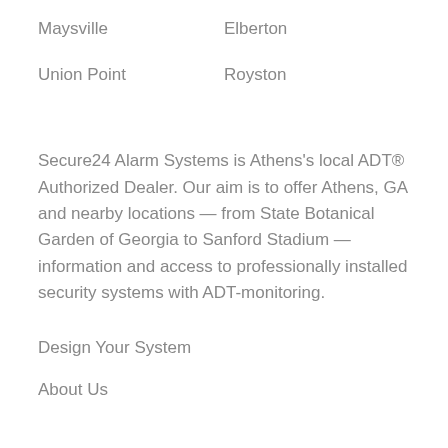Maysville
Elberton
Union Point
Royston
Secure24 Alarm Systems is Athens's local ADT® Authorized Dealer. Our aim is to offer Athens, GA and nearby locations — from State Botanical Garden of Georgia to Sanford Stadium — information and access to professionally installed security systems with ADT-monitoring.
Design Your System
About Us